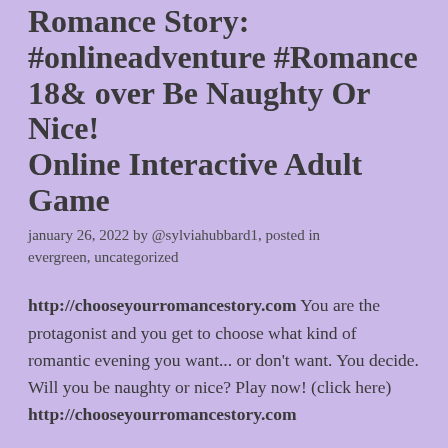Romance Story: #onlineadventure #Romance 18& over Be Naughty Or Nice! Online Interactive Adult Game
january 26, 2022 by @sylviahubbard1, posted in evergreen, uncategorized
http://chooseyourromancestory.com You are the protagonist and you get to choose what kind of romantic evening you want... or don't want. You decide. Will you be naughty or nice? Play now! (click here)
http://chooseyourromancestory.com